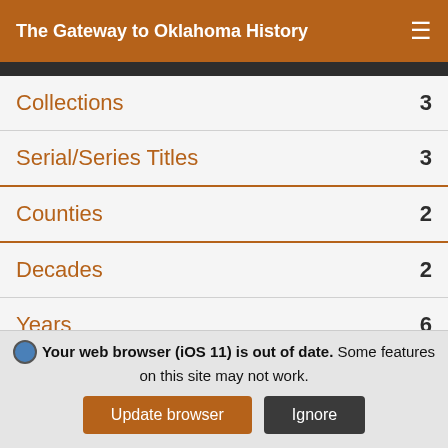The Gateway to Oklahoma History
Collections  3
Serial/Series Titles  3
Counties  2
Decades  2
Years  6
Months  12
Days  31
Your web browser (iOS 11) is out of date. Some features on this site may not work.